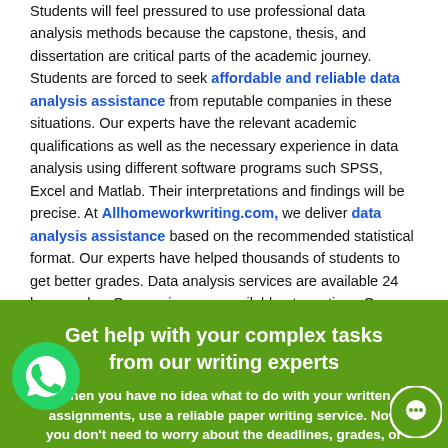Students will feel pressured to use professional data analysis methods because the capstone, thesis, and dissertation are critical parts of the academic journey. Students are forced to seek affordable and reliable data analysis assistance from reputable companies in these situations. Our experts have the relevant academic qualifications as well as the necessary experience in data analysis using different software programs such SPSS, Excel and Matlab. Their interpretations and findings will be precise. At Allhomeworkwriting.com, we deliver data analysis assistance based on the recommended statistical format. Our experts have helped thousands of students to get better grades. Data analysis services are available 24 hours a day. Our services are available at any time. Our data analysis service will make your thesis, capstone or dissertation writing process easier.
[Figure (infographic): Green banner with white text: 'Get help with your complex tasks from our writing experts'. Below: 'When you have no idea what to do with your written assignments, use a reliable paper writing service. Now you don't need to worry about the deadlines, grades, or'. WhatsApp icon on bottom left, chat bubble icon on bottom right.]